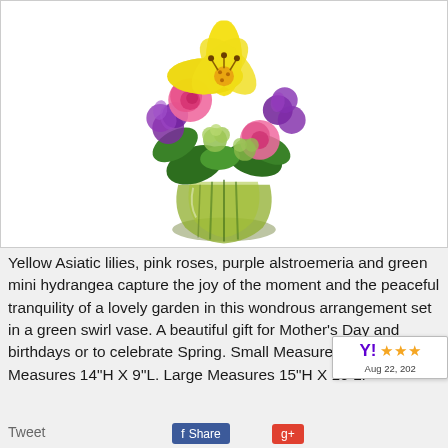[Figure (photo): A bouquet of yellow Asiatic lilies, pink roses, purple alstroemeria and green mini hydrangea arranged in a green swirl glass vase, displayed against a white background.]
Yellow Asiatic lilies, pink roses, purple alstroemeria and green mini hydrangea capture the joy of the moment and the peaceful tranquility of a lovely garden in this wondrous arrangement set in a green swirl vase. A beautiful gift for Mother's Day and birthdays or to celebrate Spring. Small Measures 13"H X 8"L. Measures 14"H X 9"L. Large Measures 15"H X 10 L.
[Figure (other): Yahoo rating badge showing 3 stars, dated Aug 22, 20xx, partially overlapping the text section.]
Tweet
Share